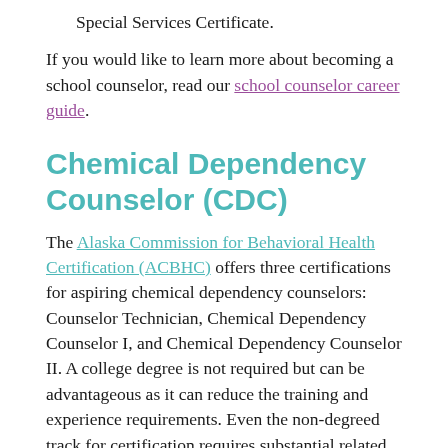Special Services Certificate.
If you would like to learn more about becoming a school counselor, read our school counselor career guide.
Chemical Dependency Counselor (CDC)
The Alaska Commission for Behavioral Health Certification (ACBHC) offers three certifications for aspiring chemical dependency counselors: Counselor Technician, Chemical Dependency Counselor I, and Chemical Dependency Counselor II. A college degree is not required but can be advantageous as it can reduce the training and experience requirements. Even the non-degreed track for certification requires substantial related coursework. Chemical dependency counselors in Alaska provide assessment, treatment planning, and counseling services to individuals and groups struggling with or impacted by alcohol and drug-related dependencies. Earn a chemical dependency counseling certification by completing